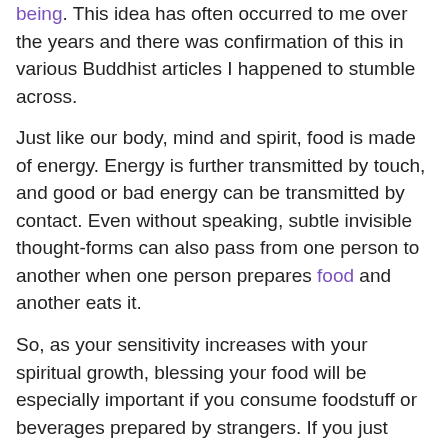being. This idea has often occurred to me over the years and there was confirmation of this in various Buddhist articles I happened to stumble across.
Just like our body, mind and spirit, food is made of energy. Energy is further transmitted by touch, and good or bad energy can be transmitted by contact. Even without speaking, subtle invisible thought-forms can also pass from one person to another when one person prepares food and another eats it.
So, as your sensitivity increases with your spiritual growth, blessing your food will be especially important if you consume foodstuff or beverages prepared by strangers. If you just think about how many people are involved in negative pursuits, doing a blessing only makes sense. Low vibration foodstuffs also originate where they've been genetically altered, not to mention livestock reared in terrible conditions.
Creator, Sustainer and Life-giver, Bless this food to our use, and us to your service, make us grateful for all your mercies, and mindful of the needs of others. Amen ~ Unknown